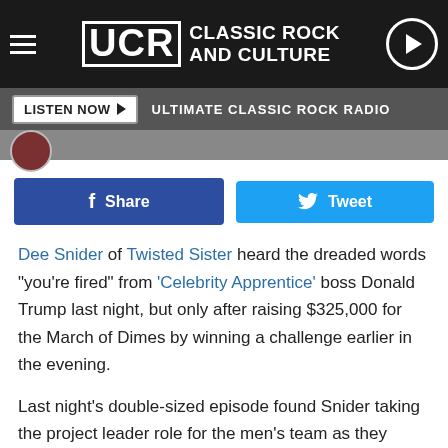UCR Classic Rock and Culture
LISTEN NOW  ULTIMATE CLASSIC ROCK RADIO
Share  Tweet
Dee Snider of Twisted Sister heard the dreaded words "you're fired" from 'Celebrity Apprentice' boss Donald Trump last night, but only after raising $325,000 for the March of Dimes by winning a challenge earlier in the evening.
Last night's double-sized episode found Snider taking the project leader role for the men's team as they created a celebrity guide book for New York City, and thanks to donations from some of their deep-pocketed celebrity friends, they defeated the women yet again.